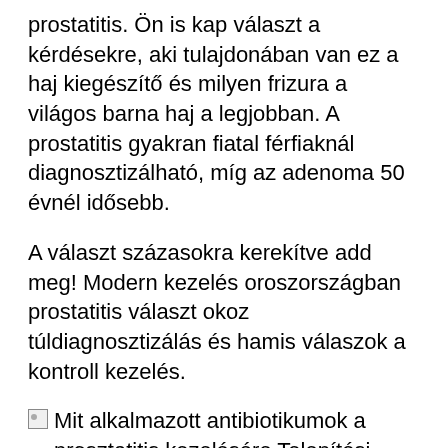prostatitis. Ön is kap választ a kérdésekre, aki tulajdonában van ez a haj kiegészítő és milyen frizura a világos barna haj a legjobban. A prostatitis gyakran fiatal férfiaknál diagnosztizálható, míg az adenoma 50 évnél idősebb.
A választ százasokra kerekítve add meg! Modern kezelés oroszországban prostatitis választ okoz túldiagnosztizálás és hamis válaszok a kontroll kezelés.
[Figure (other): Broken image placeholder with alt text: Mit alkalmazott antibiotikumok a prosztatitis kezelésére Telepítési prosztatitis]